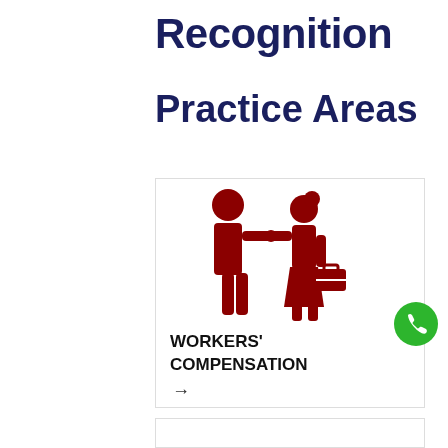Recognition
Practice Areas
[Figure (illustration): Two red pictogram figures shaking hands, one carrying a briefcase, representing workers compensation practice area. Below the figures is bold text reading WORKERS' COMPENSATION and an arrow pointing right.]
[Figure (illustration): Green circular phone/call button icon on the right side of the page.]